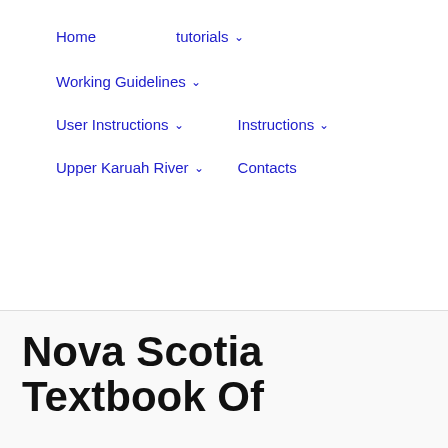Home   tutorials ∨   Working Guidelines ∨   User Instructions ∨   Instructions ∨   Upper Karuah River ∨   Contacts
Nova Scotia Textbook Of